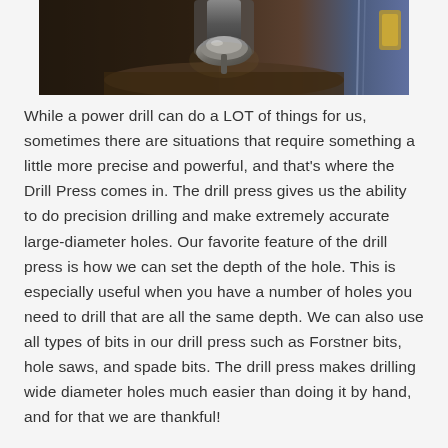[Figure (photo): Close-up photograph of a drill press chuck and bit in operation, dark industrial setting with metal machinery visible]
While a power drill can do a LOT of things for us, sometimes there are situations that require something a little more precise and powerful, and that's where the Drill Press comes in. The drill press gives us the ability to do precision drilling and make extremely accurate large-diameter holes. Our favorite feature of the drill press is how we can set the depth of the hole. This is especially useful when you have a number of holes you need to drill that are all the same depth. We can also use all types of bits in our drill press such as Forstner bits, hole saws, and spade bits. The drill press makes drilling wide diameter holes much easier than doing it by hand, and for that we are thankful!